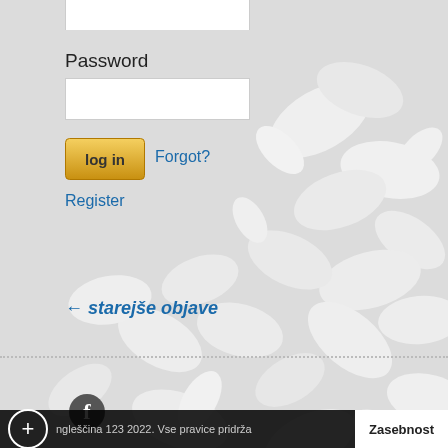Password
[Figure (screenshot): Password input field (empty text box)]
[Figure (screenshot): Login button (yellow/gold gradient) and Forgot? link beside it]
Forgot?
Register
← starejše objave
[Figure (illustration): Decorative background of white paper flower/leaf shapes on light gray]
[Figure (logo): Facebook icon button (dark circle with f)]
Angleščina 123 2022. Vse pravice pridrža   Zasebnost